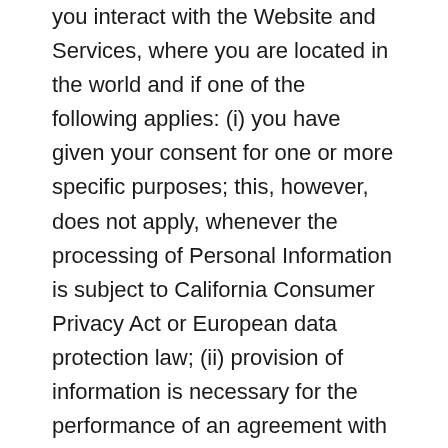you interact with the Website and Services, where you are located in the world and if one of the following applies: (i) you have given your consent for one or more specific purposes; this, however, does not apply, whenever the processing of Personal Information is subject to California Consumer Privacy Act or European data protection law; (ii) provision of information is necessary for the performance of an agreement with you and/or for any pre-contractual obligations thereof; (iii) processing is necessary for compliance with a legal obligation to which you are subject; (iv) processing is related to a task that is carried out in the public interest or in the exercise of official authority vested in us; (v) processing is necessary for the purposes of the legitimate interests pursued by us or by a third party. W